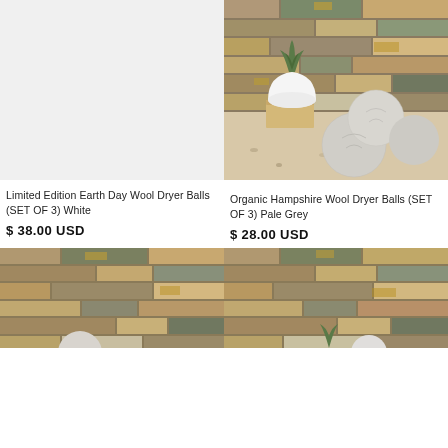[Figure (photo): Product image placeholder - light grey background for Limited Edition Earth Day Wool Dryer Balls White]
[Figure (photo): Organic Hampshire Wool Dryer Balls pale grey - three grey felted wool balls stacked on a stone surface with a small succulent plant in a white pot, against a multicolored stone tile wall background]
Limited Edition Earth Day Wool Dryer Balls (SET OF 3) White
$ 38.00 USD
Organic Hampshire Wool Dryer Balls (SET OF 3) Pale Grey
$ 28.00 USD
[Figure (photo): Wool dryer ball product photo against stone tile wall - bottom left]
[Figure (photo): Wool dryer ball product photo against stone tile wall - bottom right]